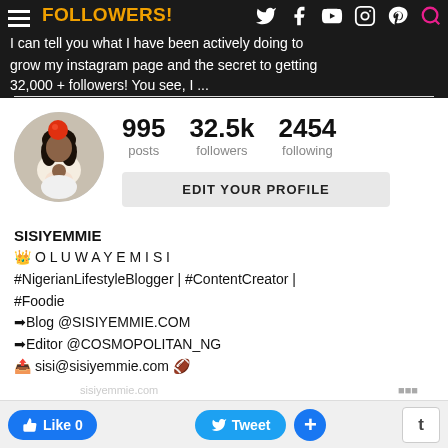FOLLOWERS! I can tell you what I have been actively doing to grow my instagram page and the secret to getting 32,000 + followers! You see, I ...
[Figure (screenshot): Instagram profile screenshot showing SISIYEMMIE with 995 posts, 32.5k followers, 2454 following, and an Edit Your Profile button. Bio includes: SISIYEMMIE, crown OLUWAYEMISI, #NigerianLifestyleBlogger | #ContentCreator | #Foodie, Blog @SISIYEMMIE.COM, Editor @COSMOPOLITAN_NG, sisi@sisiyemmie.com]
Like 0   Tweet   +   t